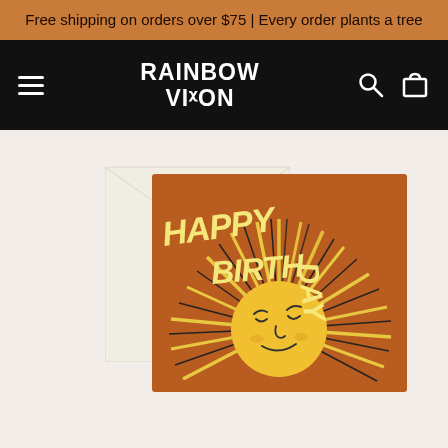Free shipping on orders over $75 | Every order plants a tree
[Figure (logo): Rainbow Vision store logo and navigation bar with hamburger menu, logo text, search and cart icons on black background]
[Figure (photo): Product photo showing a greeting card with 'HAPPY BIRTHDAY' text and illustrated sun face with rays on an orange/brown background, placed in front of a cream envelope]